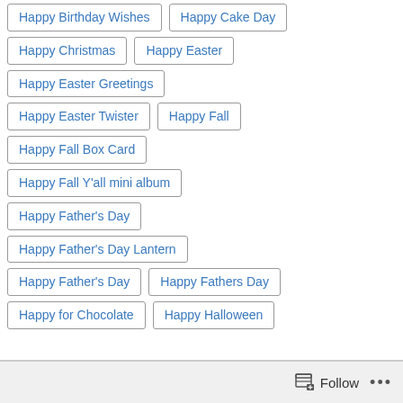Happy Birthday Wishes
Happy Cake Day
Happy Christmas
Happy Easter
Happy Easter Greetings
Happy Easter Twister
Happy Fall
Happy Fall Box Card
Happy Fall Y'all mini album
Happy Father's Day
Happy Father's Day Lantern
Happy Father's Day
Happy Fathers Day
Happy for Chocolate
Happy Halloween
Follow ...